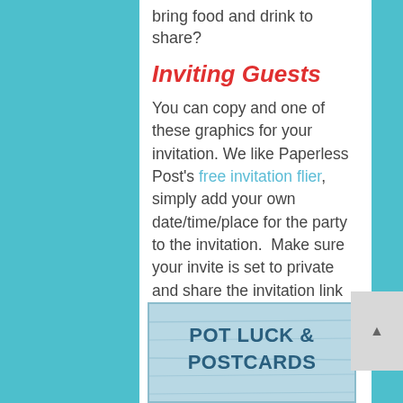bring food and drink to share?
Inviting Guests
You can copy and one of these graphics for your invitation. We like Paperless Post's free invitation flier, simply add your own date/time/place for the party to the invitation.  Make sure your invite is set to private and share the invitation link with your guests.
[Figure (other): Potluck & Postcards invitation graphic with light blue wood-texture background and bold dark blue text reading 'POT LUCK & POSTCARDS']